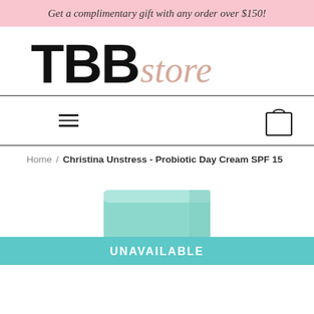Get a complimentary gift with any order over $150!
[Figure (logo): TBBstore logo with bold black TBB letters and italic rose-colored 'store' script]
[Figure (other): Navigation bar with hamburger menu icon on left and shopping bag icon on right]
Home / Christina Unstress - Probiotic Day Cream SPF 15
[Figure (photo): Product image: teal/mint colored cream jar visible at bottom of image area]
UNAVAILABLE